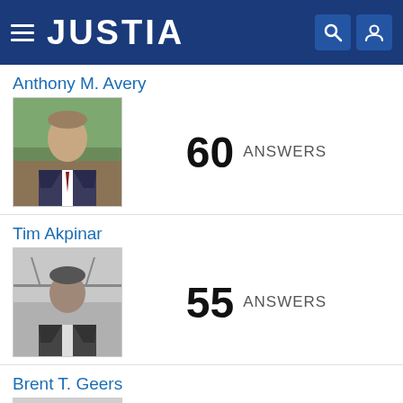JUSTIA
Anthony M. Avery
[Figure (photo): Headshot photo of Anthony M. Avery, a man in a suit outdoors]
60 ANSWERS
Tim Akpinar
[Figure (photo): Headshot photo of Tim Akpinar, a man in grayscale with a bridge in background]
55 ANSWERS
Brent T. Geers
[Figure (photo): Default placeholder silhouette avatar for Brent T. Geers]
51 ANSWERS
VIEW MORE